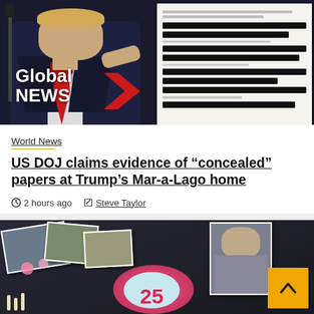[Figure (photo): News article thumbnail showing a man in a dark suit with red tie pointing a finger against a dark background with the Global News logo, alongside redacted government documents with heavy black redaction bars]
World News
US DOJ claims evidence of “concealed” papers at Trump’s Mar-a-Lago home
○ 2 hours ago   ✎ Steve Taylor
[Figure (photo): Memorial tribute photo showing flowers, photos laid out as a memorial, with pink floral wreath arrangement and the number 25, and a scroll-to-top button in the bottom right corner]